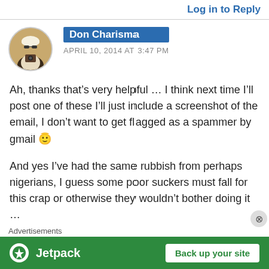Log in to Reply
Don Charisma
APRIL 10, 2014 AT 3:47 PM
Ah, thanks that’s very helpful … I think next time I’ll post one of these I’ll just include a screenshot of the email, I don’t want to get flagged as a spammer by gmail 🙂
And yes I’ve had the same rubbish from perhaps nigerians, I guess some poor suckers must fall for this crap or otherwise they wouldn’t bother doing it …
Advertisements
[Figure (logo): Jetpack advertisement banner with green background, Jetpack logo on left, and 'Back up your site' button on right]